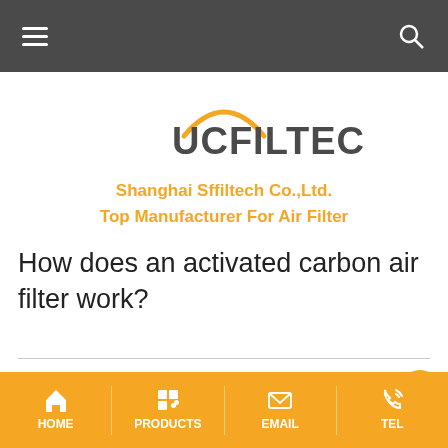Navigation bar with hamburger menu and search icon
[Figure (logo): UCFILTECH logo with orange arc above text]
Shanghai Sffiltech Co.,Ltd.
Top Manufacturer For Air Filter
How does an activated carbon air filter work?
2022-03-25   Page view : 63 views
Activated carbon filter is a flat chemical filter, or chemical
HOME   PRODUCTS   EMAIL   TEL